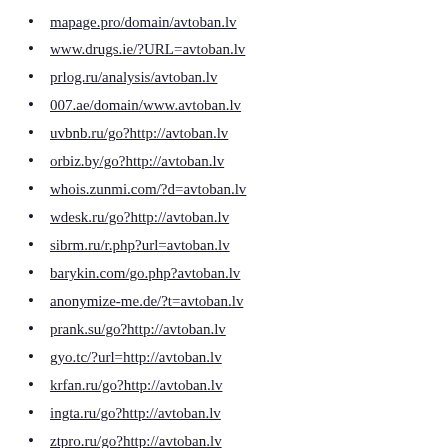mapage.pro/domain/avtoban.lv
www.drugs.ie/?URL=avtoban.lv
prlog.ru/analysis/avtoban.lv
007.ae/domain/www.avtoban.lv
uvbnb.ru/go?http://avtoban.lv
orbiz.by/go?http://avtoban.lv
whois.zunmi.com/?d=avtoban.lv
wdesk.ru/go?http://avtoban.lv
sibrm.ru/r.php?url=avtoban.lv
barykin.com/go.php?avtoban.lv
anonymize-me.de/?t=avtoban.lv
prank.su/go?http://avtoban.lv
gyo.tc/?url=http://avtoban.lv
krfan.ru/go?http://avtoban.lv
ingta.ru/go?http://avtoban.lv
ztpro.ru/go?http://avtoban.lv
www.onesky.ca/?URL=avtoban.lv
com7.jp/ad/?http://avtoban.lv
easyfiles.pl/54018/avtoban.lv